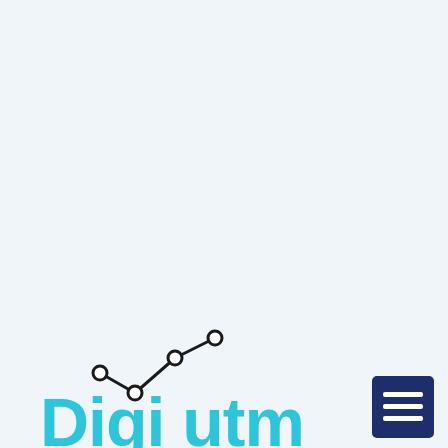[Figure (logo): DigiUTM logo: large cyan/teal bold text 'Digi utm' with a line chart icon above featuring connected nodes (circles) on a rising line, rendered in dark/black strokes]
[Figure (other): Dark navy blue square button with three horizontal white lines (hamburger/menu icon) in the bottom-right area of the page]